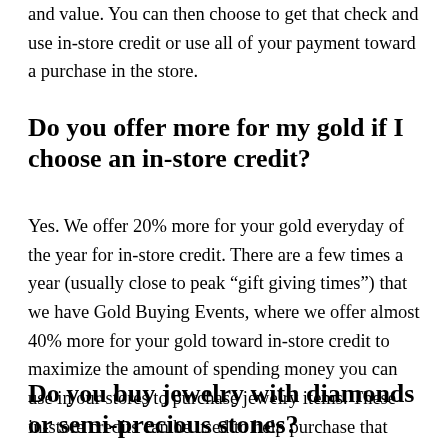and value. You can then choose to get that check and use in-store credit or use all of your payment toward a purchase in the store.
Do you offer more for my gold if I choose an in-store credit?
Yes. We offer 20% more for your gold everyday of the year for in-store credit. There are a few times a year (usually close to peak “gift giving times”) that we have Gold Buying Events, where we offer almost 40% more for your gold toward in-store credit to maximize the amount of spending money you can use in our stores to purchase jewelry items. These in-store credits can be used to help purchase that engagement ring, anniversary band, or any other purchase.
Do you buy jewelry with diamonds or semi-precious stones?